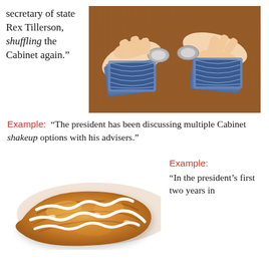secretary of state Rex Tillerson, shuffling the Cabinet again.”
[Figure (photo): Hands shuffling playing cards on a wooden table]
Example: “The president has been discussing multiple Cabinet shakeup options with his advisers.”
[Figure (photo): A pastry or cinnamon roll with white icing drizzle]
Example: “In the president’s first two years in